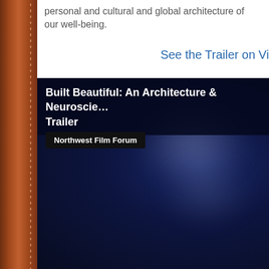personal and cultural and global architecture of our well-being.
See the Trailer on Vi
[Figure (screenshot): Embedded video player with dark navy background showing 'Built Beautiful: An Architecture & Neuroscience Trailer' from Northwest Film Forum, with blurred light orbs on dark blue background.]